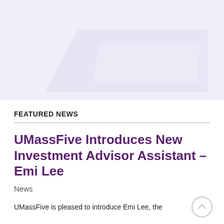[Figure (illustration): A light purple/lavender trapezoid shape on a white/light background, serving as a decorative hero image area at the top of the page.]
FEATURED NEWS
UMassFive Introduces New Investment Advisor Assistant – Emi Lee
News
UMassFive is pleased to introduce Emi Lee, the